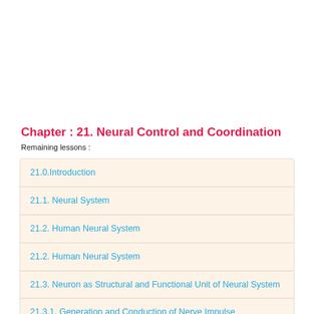Chapter : 21. Neural Control and Coordination
Remaining lessons :
21.0.Introduction
21.1. Neural System
21.2. Human Neural System
21.2. Human Neural System
21.3. Neuron as Structural and Functional Unit of Neural System
21.3.1. Generation and Conduction of Nerve Impulse